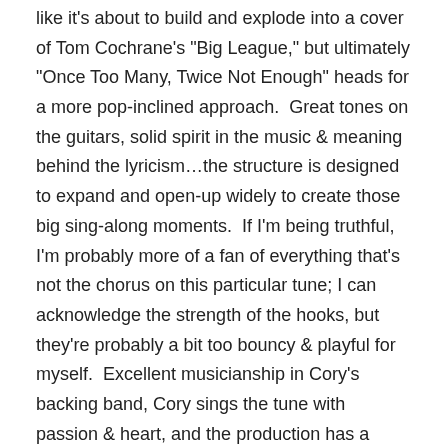like it's about to build and explode into a cover of Tom Cochrane's "Big League," but ultimately "Once Too Many, Twice Not Enough" heads for a more pop-inclined approach.  Great tones on the guitars, solid spirit in the music & meaning behind the lyricism…the structure is designed to expand and open-up widely to create those big sing-along moments.  If I'm being truthful, I'm probably more of a fan of everything that's not the chorus on this particular tune; I can acknowledge the strength of the hooks, but they're probably a bit too bouncy & playful for myself.  Excellent musicianship in Cory's backing band, Cory sings the tune with passion & heart, and the production has a remarkable clarity that invites you right in.
"Long Road (Dead Man's Dream)" adds some real definition to the groove & sound of the music – and my ears really dig that.  This second cut had more of the beef I was looking for than I was getting on that first track…this is meatier.  The low-end riff is freakin'